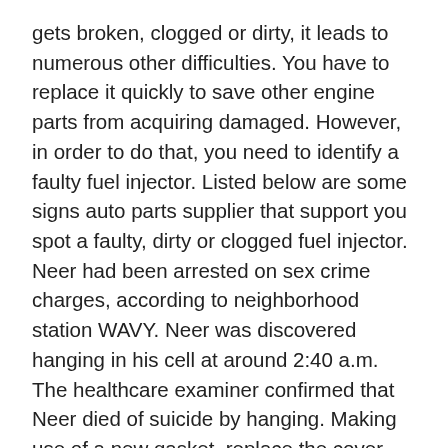gets broken, clogged or dirty, it leads to numerous other difficulties. You have to replace it quickly to save other engine parts from acquiring damaged. However, in order to do that, you need to identify a faulty fuel injector. Listed below are some signs auto parts supplier that support you spot a faulty, dirty or clogged fuel injector. Neer had been arrested on sex crime charges, according to neighborhood station WAVY. Neer was discovered hanging in his cell at around 2:40 a.m. The healthcare examiner confirmed that Neer died of suicide by hanging. Making use of a new gasket, replace the cover and tighten the six modest bolts. Spin the pump back about and slide the belt over the pulley. (Make positive it really is in the correct groove on the principal pulley.) Install the two bolts, and adjust the belt as you tighten the bolts. Never overlook to tighten the hose clamps. The benefit of possessing a fuel pump mounted in the tank is that a suction style pump at the engine could suck in air by way of a negative connection.